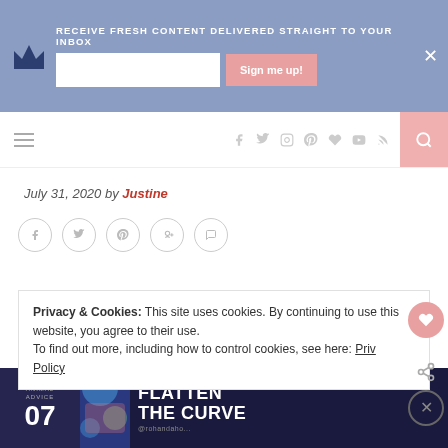RECEIVE FRESH CONTENT DELIVERED STRAIGHT TO YOUR INBOX
July 31, 2020 by Justine
[Figure (infographic): Social share icons row: Facebook, Twitter, Pinterest, Google+, Comment — each in a circle]
Privacy & Cookies: This site uses cookies. By continuing to use this website, you agree to their use.
To find out more, including how to control cookies, see here: Privacy Policy
[Figure (infographic): Ad banner: ANIMAL ADVICE 07 FLATTEN THE CURVE with colorful animal illustration]